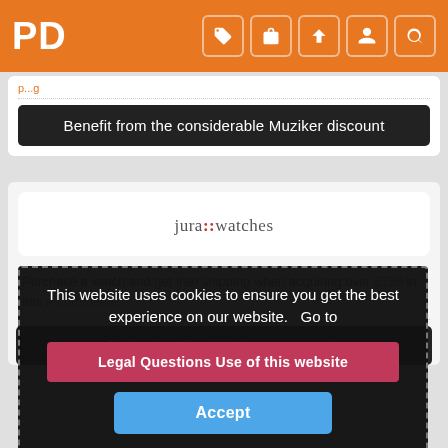PD
Benefit from the considerable Muziker discount
[Figure (logo): Jura Watches logo — text logo reading 'jura::watches' with red double-colon separator]
This website uses cookies to ensure you get the best experience on our website.   Go to
Legal Questions Use of this website
Accept
Purchase a watch and get free shipping when acquiring over £750 in this e-commerce.
Click and get Jura Watches coupon code